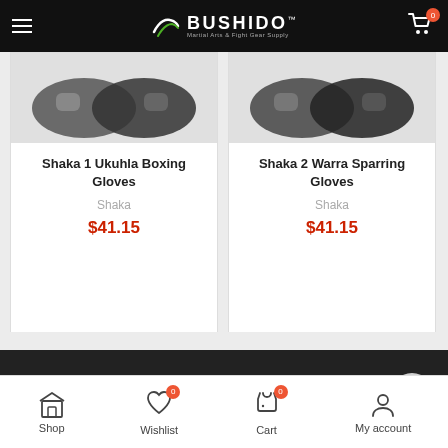BUSHIDO Martial Arts & Fight Gear Supply
Shaka 1 Ukuhla Boxing Gloves
Shaka
$41.15
Shaka 2 Warra Sparring Gloves
Shaka
$41.15
Fast, Free Shipping
For Orders Over $149
ADD TO CART
Shop  Wishlist  Cart  My account